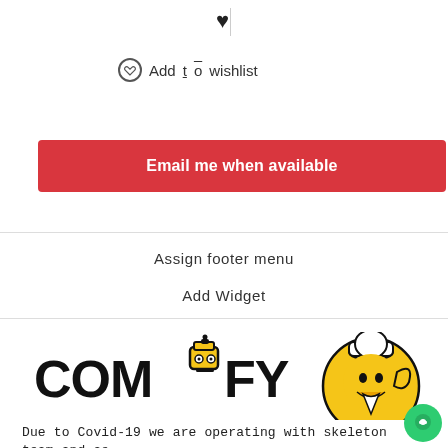[Figure (illustration): Filled heart icon in top left area]
Add to wishlist
[Figure (illustration): Filled heart icon in top right area]
Add to wishlist
Email me when available
Assign footer menu
Add Widget
[Figure (logo): Comify logo with robot character and yellow mascot chef figure]
Due to Covid-19 we are operating with skeleton team and as